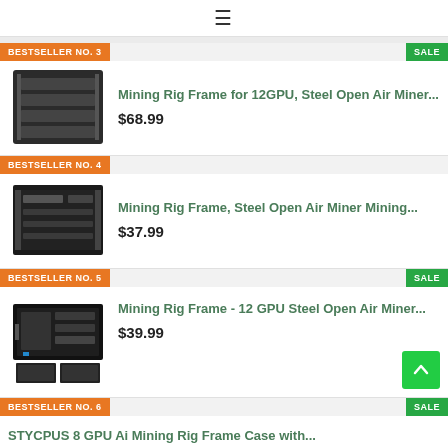≡
BESTSELLER NO. 3
SALE
Mining Rig Frame for 12GPU, Steel Open Air Miner...
$68.99
BESTSELLER NO. 4
Mining Rig Frame, Steel Open Air Miner Mining...
$37.99
BESTSELLER NO. 5
SALE
Mining Rig Frame - 12 GPU Steel Open Air Miner...
$39.99
BESTSELLER NO. 6
SALE
STYCPUS 8 GPU Ai Mining Rig Frame Case with...